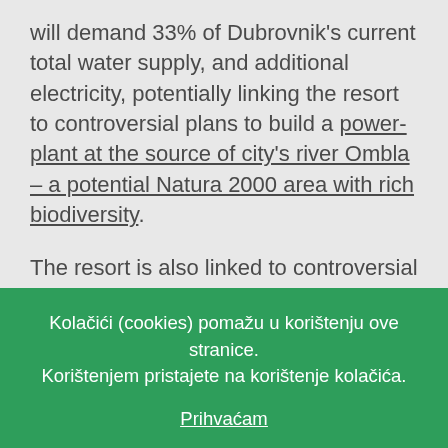will demand 33% of Dubrovnik's current total water supply, and additional electricity, potentially linking the resort to controversial plans to build a power-plant at the source of city's river Ombla – a potential Natura 2000 area with rich biodiversity.
The resort is also linked to controversial investments and potential land grabs according to the organisation. In 2009, 4.7 hectares of land were bought from the City of Dubrovnik at far below market value, and in 2011 local media uncovered a scandal whereby ownership of the
Kolačići (cookies) pomažu u korištenju ove stranice. Korištenjem pristajete na korištenje kolačića.
Prihvaćam